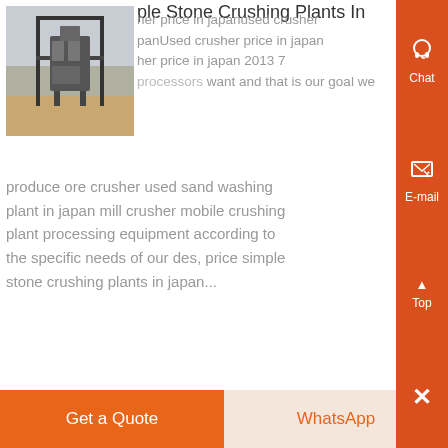ple Stone Crushing Plants In
[Figure (photo): Outdoor steel-frame stone crushing plant structure]
her price in japanused crusher panUsed crusher price in japan her price in japan 2013 7 processors want and that is our goal we produce ore crusher used sand washing plant in japan mill crusher mobile crushing plant processing equipment according to the specific needs of our des, price simple stone crushing plants in japan...
Know More
[Figure (photo): Industrial crushing plant machinery, dark tones]
ple Stone Crushing Plants y Crusher
Get a Quote
WhatsApp